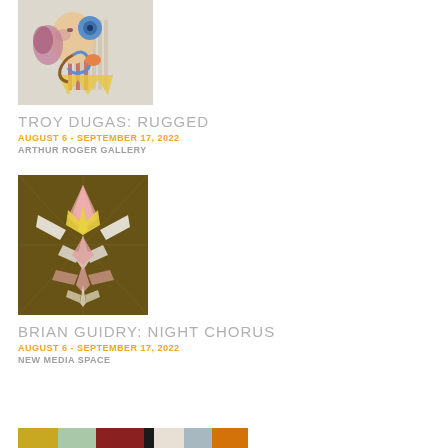[Figure (photo): Artwork image for Troy Dugas: Rugged — colorful figurative painting with abstract face, butterfly, and decorative elements]
TROY DUGAS: RUGGED
AUGUST 6 - SEPTEMBER 17, 2022
ARTHUR ROGER GALLERY
[Figure (photo): Artwork image for Brian Guidry: Night Chorus — geometric dark background painting with pink, yellow, and white angular flower-like forms]
BRIAN GUIDRY: NIGHT CHORUS
AUGUST 6 - SEPTEMBER 17, 2022
NEW MEDIA SPACE
[Figure (photo): Color strip showing palette of artwork — mustard yellow, mint green, dark red/brown, off-white, light gray-blue, orange swatches]